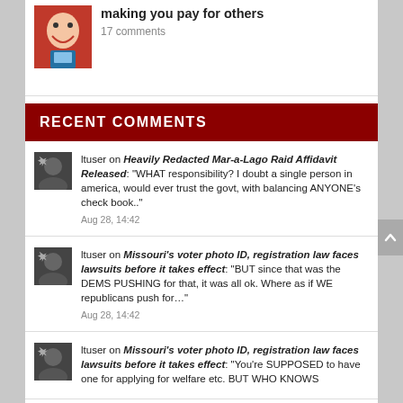making you pay for others
17 comments
RECENT COMMENTS
ltuser on Heavily Redacted Mar-a-Lago Raid Affidavit Released: "WHAT responsibility? I doubt a single person in america, would ever trust the govt, with balancing ANYONE's check book.." Aug 28, 14:42
ltuser on Missouri's voter photo ID, registration law faces lawsuits before it takes effect: "BUT since that was the DEMS PUSHING for that, it was all ok. Where as if WE republicans push for..." Aug 28, 14:42
ltuser on Missouri's voter photo ID, registration law faces lawsuits before it takes effect: "You're SUPPOSED to have one for applying for welfare etc. BUT WHO KNOWS